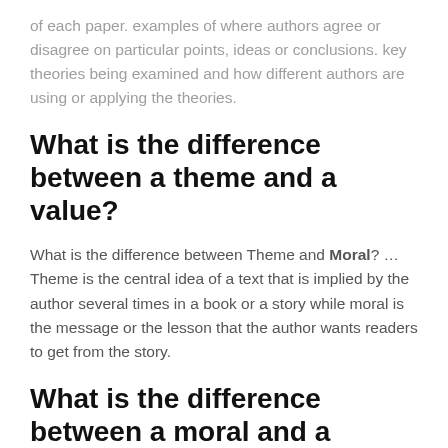of each paper. examples of where authors agree or disagree on particular points, ideas or conclusions. key theories being examined and how different authors are using or applying the theories.
What is the difference between a theme and a value?
What is the difference between Theme and Moral? … Theme is the central idea of a text that is implied by the author several times in a book or a story while moral is the message or the lesson that the author wants readers to get from the story.
What is the difference between a moral and a lesson?